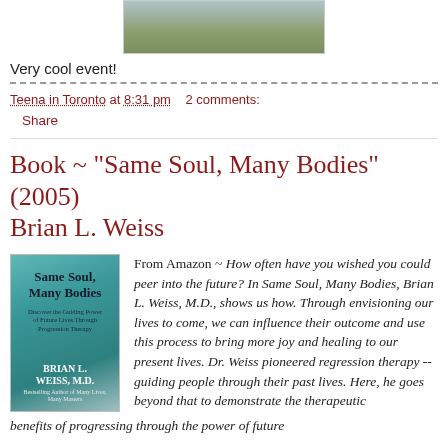[Figure (photo): Partial photo of an outdoor scene, cropped at top of page, inside a bordered frame]
Very cool event!
Teena in Toronto at 8:31 pm   2 comments:
Share
Book ~ "Same Soul, Many Bodies" (2005) Brian L. Weiss
[Figure (photo): Book cover of 'Same Soul, Many Bodies' by Brian L. Weiss, M.D., teal/blue cover]
From Amazon ~ How often have you wished you could peer into the future? In Same Soul, Many Bodies, Brian L. Weiss, M.D., shows us how. Through envisioning our lives to come, we can influence their outcome and use this process to bring more joy and healing to our present lives. Dr. Weiss pioneered regression therapy -- guiding people through their past lives. Here, he goes beyond that to demonstrate the therapeutic
benefits of progressing through the power of future